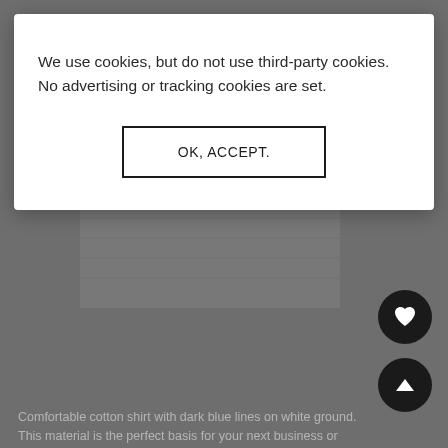[Figure (screenshot): Cookie consent modal dialog overlaying a blurred e-commerce product page showing a shirt with buttons and descriptive text beneath.]
We use cookies, but do not use third-party cookies. No advertising or tracking cookies are set.
OK, ACCEPT.
Comfortable cotton shirt with dark blue lines on white ground. This material is the perfect basis for your next business or leisure shirt. The highlight are certainty the red boxes which are printed in regular intervals.